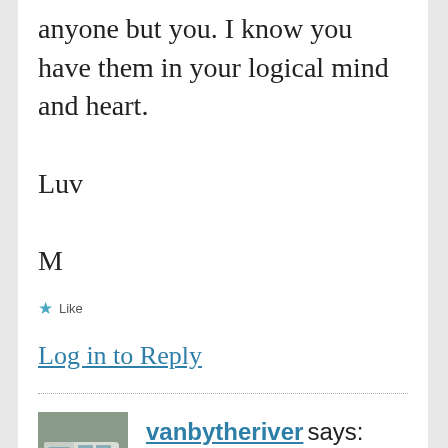anyone but you. I know you have them in your logical mind and heart.
Luv
M
★ Like
Log in to Reply
vanbytheriver says:
[Figure (photo): Avatar image of a van/vehicle illustration]